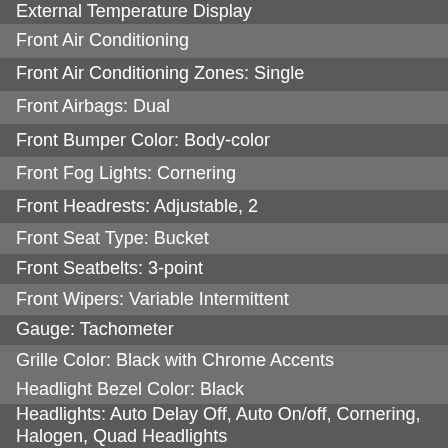External Temperature Display
Front Air Conditioning
Front Air Conditioning Zones: Single
Front Airbags: Dual
Front Bumper Color: Body-color
Front Fog Lights: Cornering
Front Headrests: Adjustable, 2
Front Seat Type: Bucket
Front Seatbelts: 3-point
Front Wipers: Variable Intermittent
Gauge: Tachometer
Grille Color: Black with Chrome Accents
Headlight Bezel Color: Black
Headlights: Auto Delay Off, Auto On/off, Cornering, Halogen, Quad Headlights